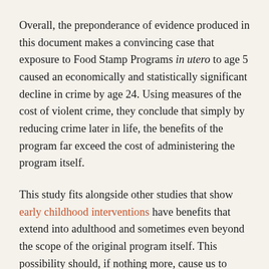Overall, the preponderance of evidence produced in this document makes a convincing case that exposure to Food Stamp Programs in utero to age 5 caused an economically and statistically significant decline in crime by age 24. Using measures of the cost of violent crime, they conclude that simply by reducing crime later in life, the benefits of the program far exceed the cost of administering the program itself.
This study fits alongside other studies that show early childhood interventions have benefits that extend into adulthood and sometimes even beyond the scope of the original program itself. This possibility should, if nothing more, cause us to consider the possibility that sometimes the unintended consequences of poverty programs select on the upside of external benefits, and